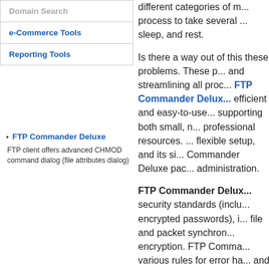| Domain Search |
| e-Commerce Tools |
| Reporting Tools |
FTP Commander Deluxe
FTP client offers advanced CHMOD command dialog (file attributes dialog)
different categories of m... process to take several ... sleep, and rest.
Is there a way out of this these problems. These p... and streamlining all proc...
FTP Commander Delux... efficient and easy-to-use... supporting both small, n... professional resources. ... flexible setup, and its si... Commander Deluxe pac... administration.
FTP Commander Delux... security standards (inclu... encrypted passwords), i... file and packet synchron... encryption. FTP Comma... various rules for error ha... and determining what ac...